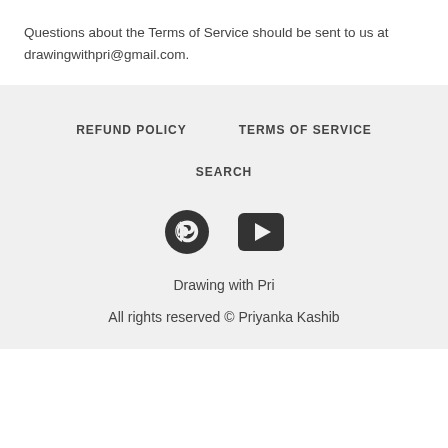Questions about the Terms of Service should be sent to us at drawingwithpri@gmail.com.
REFUND POLICY   TERMS OF SERVICE
SEARCH
Drawing with Pri
All rights reserved © Priyanka Kashib